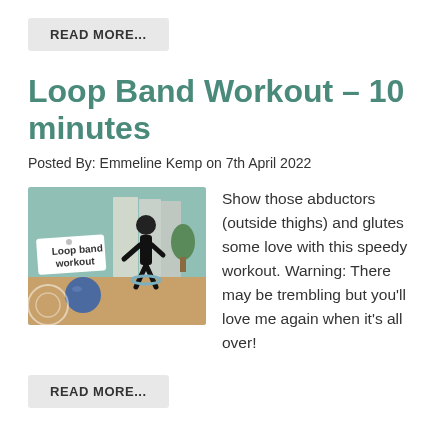READ MORE...
Loop Band Workout – 10 minutes
Posted By: Emmeline Kemp on 7th April 2022
[Figure (photo): Thumbnail image of a loop band workout video showing a person exercising with a loop band in a studio, with a 'Loop band workout' label overlay]
Show those abductors (outside thighs) and glutes some love with this speedy workout. Warning: There may be trembling but you'll love me again when it's all over!
READ MORE...